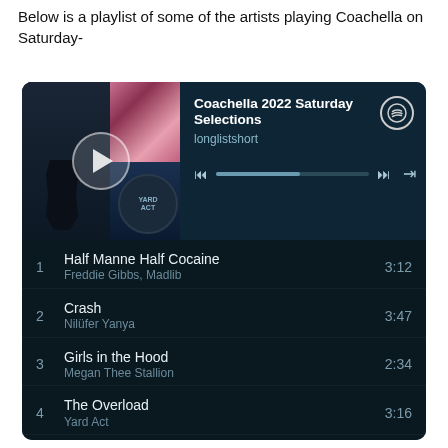Below is a playlist of some of the artists playing Coachella on Saturday-
[Figure (screenshot): Spotify playlist embed showing 'Coachella 2022 Saturday Selections' by longlistshort with 6 tracks: 1. Half Manne Half Cocaine - Freddie Gibbs, Madlib (3:12), 2. Crash - Nilüfer Yanya (3:47), 3. Girls in the Hood - Megan Thee Stallion (2:34), 4. The Overload - Yard Act (3:16), 5. BLACKOUT - Turnstile (2:53), 6. Money Making Machine - Current Joys (3:33)]